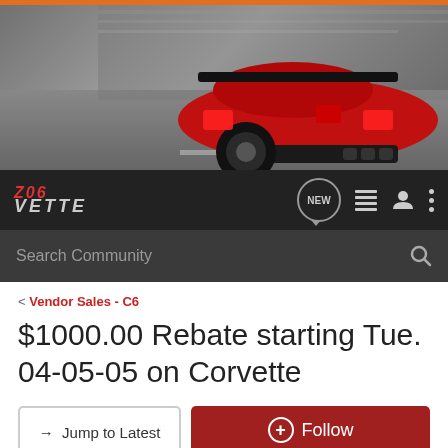[Figure (photo): Red Corvette Z06 sports car photographed from the rear-three-quarter angle on a road, motion-blurred background]
Z06 VETTE — navigation bar with NEW, list, person, and menu icons, plus Search Community search bar
< Vendor Sales - C6
$1000.00 Rebate starting Tue. 04-05-05 on Corvette
→ Jump to Latest   + Follow
1 - 10 of 10 Posts